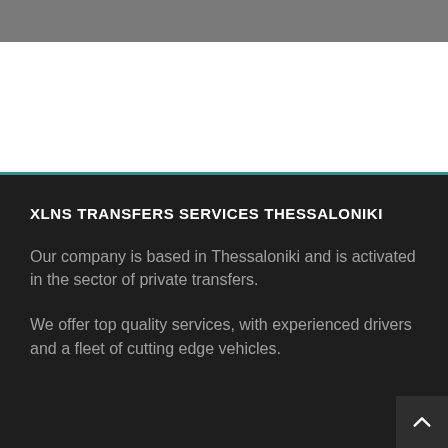[Figure (photo): Gray textured background image at the top of the page with a white area below and a teal dividing line]
XLNS TRANSFERS SERVICES THESSALONIKI
Our company is based in Thessaloniki and is activated in the sector of private transfers.
We offer top quality services, with experienced drivers and a fleet of cutting edge vehicles.